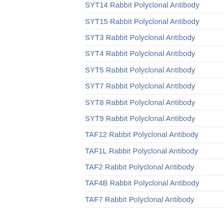SYT14 Rabbit Polyclonal Antibody
SYT15 Rabbit Polyclonal Antibody
SYT3 Rabbit Polyclonal Antibody
SYT4 Rabbit Polyclonal Antibody
SYT5 Rabbit Polyclonal Antibody
SYT7 Rabbit Polyclonal Antibody
SYT8 Rabbit Polyclonal Antibody
SYT9 Rabbit Polyclonal Antibody
TAF12 Rabbit Polyclonal Antibody
TAF1L Rabbit Polyclonal Antibody
TAF2 Rabbit Polyclonal Antibody
TAF4B Rabbit Polyclonal Antibody
TAF7 Rabbit Polyclonal Antibody